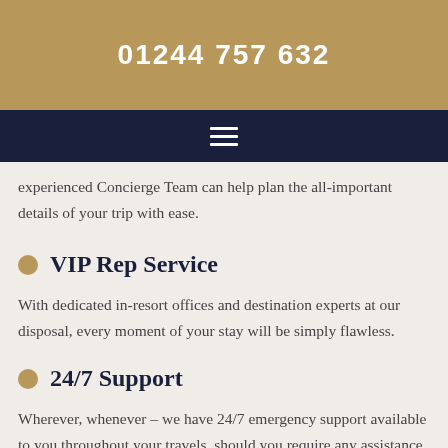01244 757 632
experienced Concierge Team can help plan the all-important details of your trip with ease.
VIP Rep Service
With dedicated in-resort offices and destination experts at our disposal, every moment of your stay will be simply flawless.
24/7 Support
Wherever, whenever – we have 24/7 emergency support available to you throughout your travels, should you require any assistance.